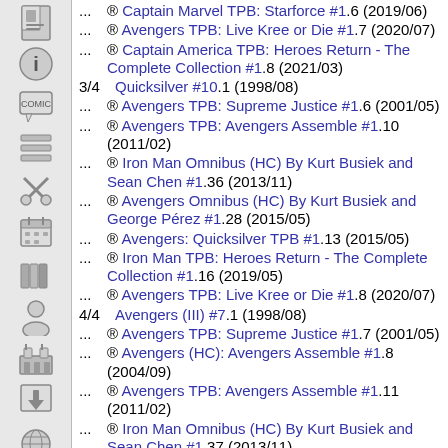... ® Captain Marvel TPB: Starforce #1.6 (2019/06)
... ® Avengers TPB: Live Kree or Die #1.7 (2020/07)
... ® Captain America TPB: Heroes Return - The Complete Collection #1.8 (2021/03)
3/4 Quicksilver #10.1 (1998/08)
... ® Avengers TPB: Supreme Justice #1.6 (2001/05)
... ® Avengers TPB: Avengers Assemble #1.10 (2011/02)
... ® Iron Man Omnibus (HC) By Kurt Busiek and Sean Chen #1.36 (2013/11)
... ® Avengers Omnibus (HC) By Kurt Busiek and George Pérez #1.28 (2015/05)
... ® Avengers: Quicksilver TPB #1.13 (2015/05)
... ® Iron Man TPB: Heroes Return - The Complete Collection #1.16 (2019/05)
... ® Avengers TPB: Live Kree or Die #1.8 (2020/07)
4/4 Avengers (III) #7.1 (1998/08)
... ® Avengers TPB: Supreme Justice #1.7 (2001/05)
... ® Avengers (HC): Avengers Assemble #1.8 (2004/09)
... ® Avengers TPB: Avengers Assemble #1.11 (2011/02)
... ® Iron Man Omnibus (HC) By Kurt Busiek and Sean Chen #1.37 (2013/11)
... ® Avengers Omnibus (HC) By Kurt Busiek and George Pérez #1.7 (2015/05)
... ® Iron Man TPB: Heroes Return - The Complete Collection #1.17 (2019/05)
... ® Avengers TPB: Live Kree or Die #1.9 (2020/07)